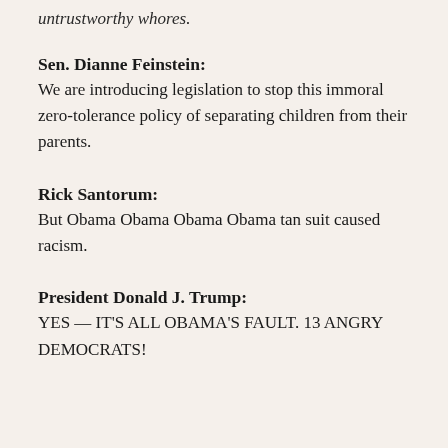untrustworthy whores.
Sen. Dianne Feinstein:
We are introducing legislation to stop this immoral zero-tolerance policy of separating children from their parents.
Rick Santorum:
But Obama Obama Obama Obama tan suit caused racism.
President Donald J. Trump:
YES — IT'S ALL OBAMA'S FAULT. 13 ANGRY DEMOCRATS!